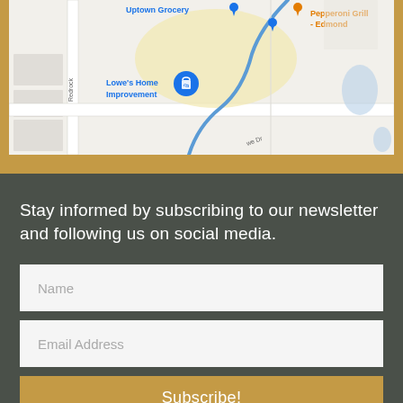[Figure (map): Google Maps screenshot showing area with Uptown Grocery, Pepperoni Grill - Edmond (in orange), Lowe's Home Improvement with a map pin, Redrock road label, and a blue route marker. Streets and surrounding area visible.]
Stay informed by subscribing to our newsletter and following us on social media.
Name
Email Address
Subscribe!